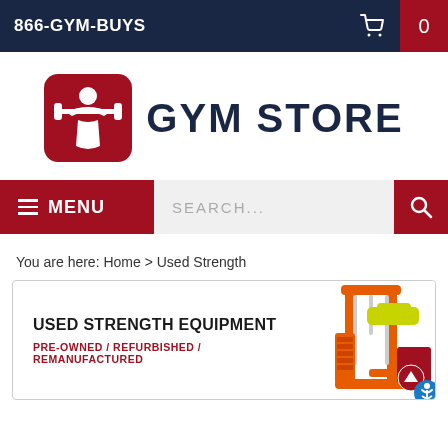866-GYM-BUYS
[Figure (logo): Gym Store logo with red rounded square icon showing a person lifting a barbell overhead, next to text 'GYM STORE' in dark navy blue]
MENU  SEARCH...
You are here: Home > Used Strength
[Figure (illustration): Banner for Used Strength Equipment showing an orange gym strength machine on the right side. Text reads: USED STRENGTH EQUIPMENT / PRE-OWNED / REFURBISHED / REMANUFACTURED]